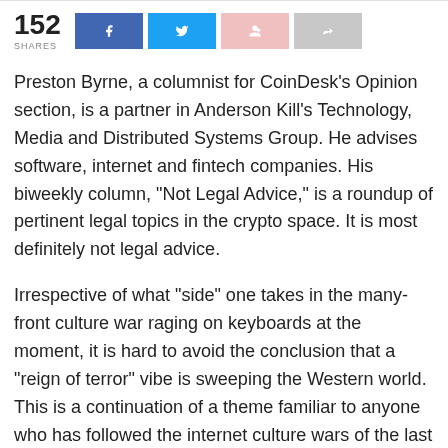[Figure (infographic): Share count showing 152 shares with four social sharing buttons: Facebook (blue), Twitter (light blue), Google+ (pink), and a share/forward button (gray)]
Preston Byrne, a columnist for CoinDesk’s Opinion section, is a partner in Anderson Kill’s Technology, Media and Distributed Systems Group. He advises software, internet and fintech companies. His biweekly column, “Not Legal Advice,” is a roundup of pertinent legal topics in the crypto space. It is most definitely not legal advice.
Irrespective of what “side” one takes in the many-front culture war raging on keyboards at the moment, it is hard to avoid the conclusion that a “reign of terror” vibe is sweeping the Western world. This is a continuation of a theme familiar to anyone who has followed the internet culture wars of the last few years. Anyone who